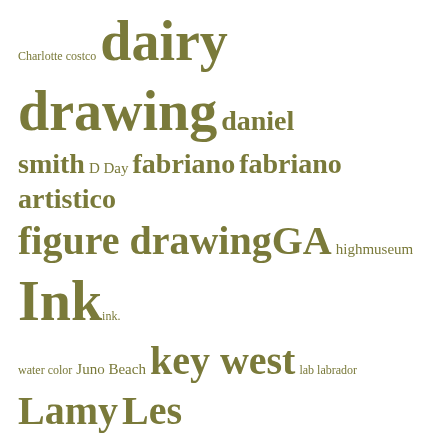[Figure (infographic): Tag cloud featuring art/sketching related terms in varying sizes and weights in olive/dark yellow-green color. Terms include: Charlotte costco, dairy, drawing, daniel smith, D Day, fabriano, fabriano artistico, figure drawing, GA, highmuseum, Ink, ink. water color, Juno Beach, key west, lab labrador, Lamy, Les Andelys, Life drawing, lifemodel, life model, Marais, moleskine, noodler creaper, noodler creaper ahab, Normandie, Normandy, Paris, Pentel Brush Markers, Ponce City Market, portrait, QUILTS, rhineharts, Rouen, savannah, savannah river, sea gulls, Shopkeeparty, sketchbookskool, Sketching, South Carolina, staedler pen, stillman and birn]